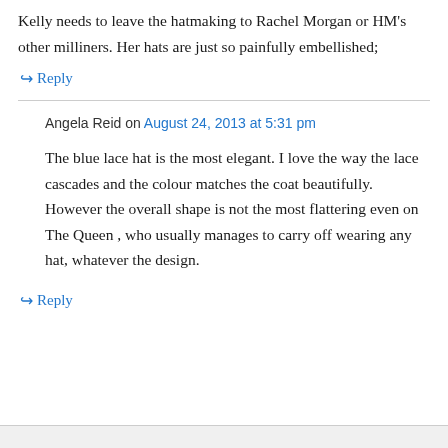Kelly needs to leave the hatmaking to Rachel Morgan or HM's other milliners. Her hats are just so painfully embellished;
↳ Reply
Angela Reid on August 24, 2013 at 5:31 pm
The blue lace hat is the most elegant. I love the way the lace cascades and the colour matches the coat beautifully. However the overall shape is not the most flattering even on The Queen , who usually manages to carry off wearing any hat, whatever the design.
↳ Reply